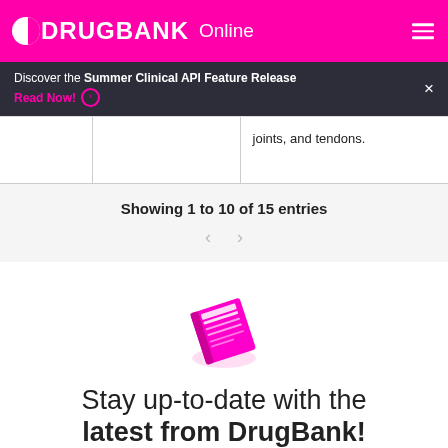DRUGBANK Online
Discover the Summer Clinical API Feature Release
Read Now!
|  |  | joints, and tendons. |
Showing 1 to 10 of 15 entries
[Figure (illustration): A pink/magenta stylized book or document icon at an angle with white grid lines on it.]
Stay up-to-date with the latest from DrugBank!